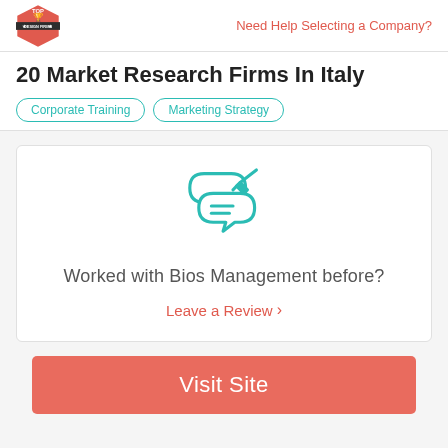Top Design Firms | Need Help Selecting a Company?
20 Market Research Firms In Italy
Corporate Training
Marketing Strategy
[Figure (illustration): Chat/review icon — two overlapping speech bubbles with a pencil, drawn in teal outline style]
Worked with Bios Management before?
Leave a Review >
Visit Site